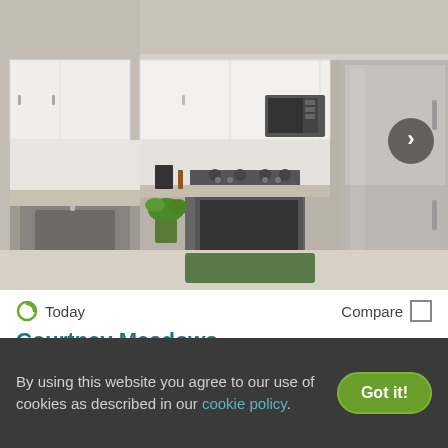[Figure (photo): Interior photo of a modern apartment kitchen with white cabinets, granite countertops, stainless steel appliances including a refrigerator, stove, and microwave. Navigation arrow on the right. Image counter showing '1 of 19'.]
Today
Compare
Courtney Meadows
7820 Baymeadows Road East, Jacksonville, FL 32256
Available
Verified
1 BED
$1,222+
2 BEDS
$1,541+
3 BEDS
$1,712+
By using this website you agree to our use of cookies as described in our cookie policy.